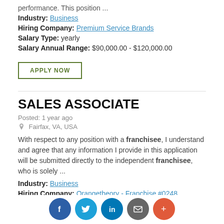performance. This position ...
Industry: Business
Hiring Company: Premium Service Brands
Salary Type: yearly
Salary Annual Range: $90,000.00 - $120,000.00
APPLY NOW
SALES ASSOCIATE
Posted: 1 year ago
Fairfax, VA, USA
With respect to any position with a franchisee, I understand and agree that any information I provide in this application will be submitted directly to the independent franchisee, who is solely ...
Industry: Business
Hiring Company: Orangetheory - Franchise #0248
Salary Type: hourly